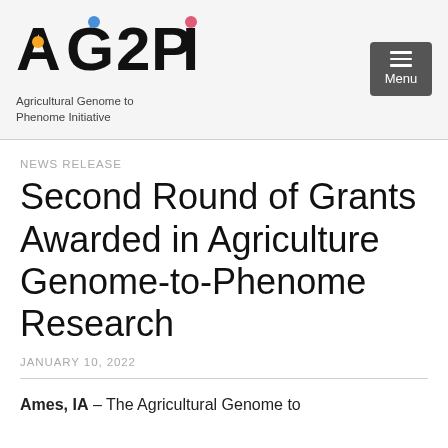AG2PI — Agricultural Genome to Phenome Initiative
NEWS RELEASE
Second Round of Grants Awarded in Agriculture Genome-to-Phenome Research
JANUARY 10, 2022
Ames, IA – The Agricultural Genome to